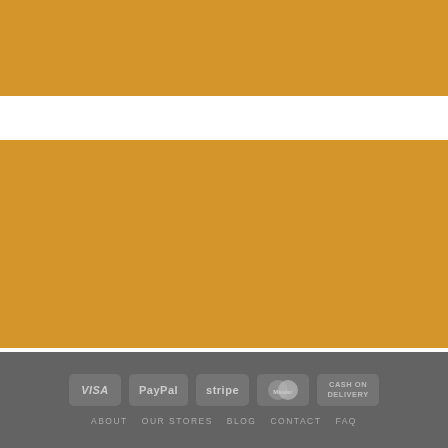[Figure (other): Golden/amber colored banner image placeholder at the top of the page]
[Figure (other): Navigation dots: one filled black dot and one gold outlined/hollow circle dot]
NAV CIRCLE OUTSIDE
[Figure (other): Large golden/amber colored banner image placeholder in the middle of the page]
[Figure (other): Footer section with payment icons (VISA, PayPal, stripe, MasterCard, CASH ON DELIVERY) and navigation links (ABOUT, OUR STORES, BLOG, CONTACT, FAQ)]